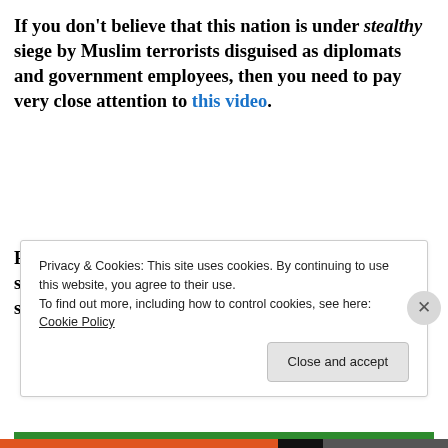If you don't believe that this nation is under stealthy siege by Muslim terrorists disguised as diplomats and government employees, then you need to pay very close attention to this video.
Phillip Haney is speaking all over the country about some of the same things I have been writing about since 2010, but few have wanted to listen.
[Figure (other): Green advertisement banner with logo and call-to-action text]
Privacy & Cookies: This site uses cookies. By continuing to use this website, you agree to their use.
To find out more, including how to control cookies, see here: Cookie Policy
Close and accept